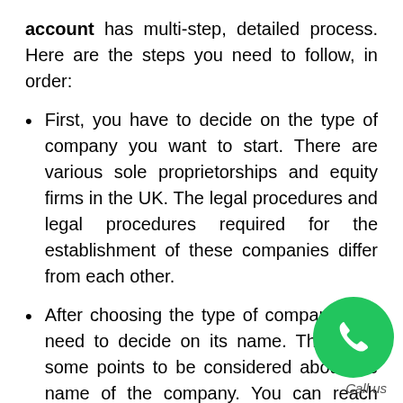account has multi-step, detailed process. Here are the steps you need to follow, in order:
First, you have to decide on the type of company you want to start. There are various sole proprietorships and equity firms in the UK. The legal procedures and legal procedures required for the establishment of these companies differ from each other.
After choosing the type of company, you need to decide on its name. There are some points to be considered about the name of the company. You can reach these points through Companies House. In addition, you should check with the company name checker whether the company name you have chosen has been used before.
[Figure (illustration): Green circular phone/call button with white telephone handset icon, and 'Call us' label below]